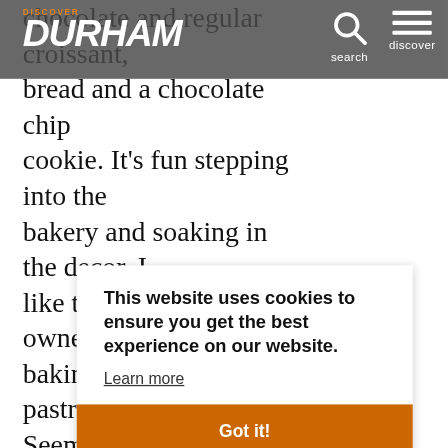Discover Durham — navigation bar with logo, search, and discover menu
chocolate and regular croissant, bread and a chocolate chip cookie. It's fun stepping into the bakery and soaking in the decor. I like that you can see the owner baking and preparing pastries. Seemed like a lovely place and I would love to sit there next time. Th Be do: ba for tri alr
This website uses cookies to ensure you get the best experience on our website. Learn more
Got it!